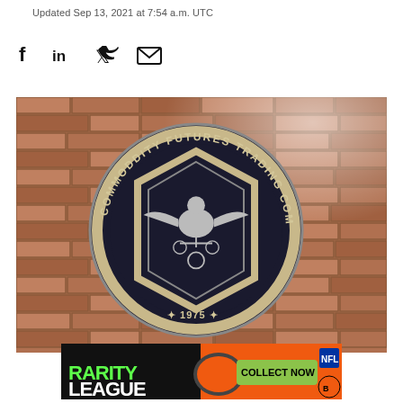Updated Sep 13, 2021 at 7:54 a.m. UTC
[Figure (other): Social media sharing icons: Facebook, LinkedIn, Twitter, Email]
[Figure (photo): Photograph of the Commodity Futures Trading Commission (CFTC) official seal mounted on a brick wall. The circular dark seal reads 'COMMODDITY FUTURES TRADING COMMISSION' around the border with '1975' at the bottom between two stars, featuring an eagle and balance scales emblem in the center within a hexagonal frame.]
[Figure (other): Advertisement banner for 'RARITY LEAGUE' with NFL Bengals branding, showing a football helmet and text 'COLLECT NOW' on an orange and black background.]